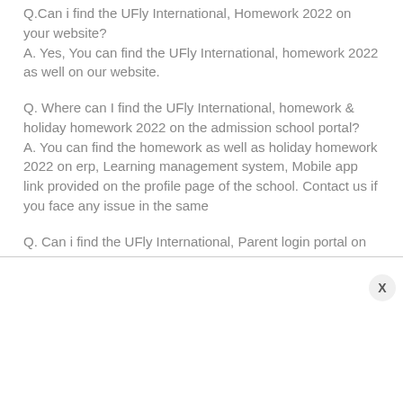Q.Can i find the UFly International, Homework 2022 on your website? A. Yes, You can find the UFly International, homework 2022 as well on our website.
Q. Where can I find the UFly International, homework & holiday homework 2022 on the admission school portal? A. You can find the homework as well as holiday homework 2022 on erp, Learning management system, Mobile app link provided on the profile page of the school. Contact us if you face any issue in the same
Q. Can i find the UFly International, Parent login portal on